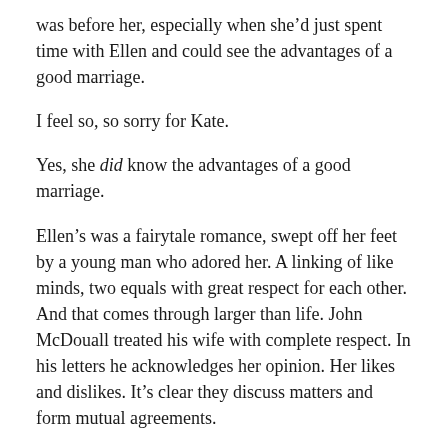was before her, especially when she'd just spent time with Ellen and could see the advantages of a good marriage.
I feel so, so sorry for Kate.
Yes, she did know the advantages of a good marriage.
Ellen's was a fairytale romance, swept off her feet by a young man who adored her. A linking of like minds, two equals with great respect for each other. And that comes through larger than life. John McDouall treated his wife with complete respect. In his letters he acknowledges her opinion. Her likes and dislikes. It's clear they discuss matters and form mutual agreements.
And here's Willoughby – formal, somewhat arrogant, seeing her as a way out of a difficulty. I mean, it's possible that he fell in love with her. But if he did and